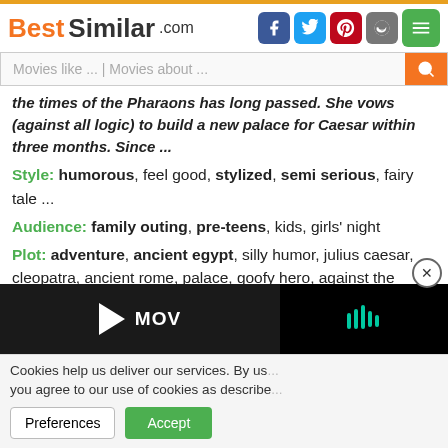BestSimilar.com
Movies like ... | Movies about ...
the times of the Pharaons has long passed. She vows (against all logic) to build a new palace for Caesar within three months. Since ...
Style: humorous, feel good, stylized, semi serious, fairy tale ...
Audience: family outing, pre-teens, kids, girls' night
Plot: adventure, ancient egypt, silly humor, julius caesar, cleopatra, ancient rome, palace, goofy hero, against the odds, heroic mission, superhero, architect ...
Time: 1st century b.c.
Place: egypt, africa, middle east, france, paris france ...
[Figure (screenshot): Movie trailer button with play icon and MOV text, alongside a dark video panel with SoundCloud-like icon and close button]
Cookies help us deliver our services. By us... you agree to our use of cookies as describe...